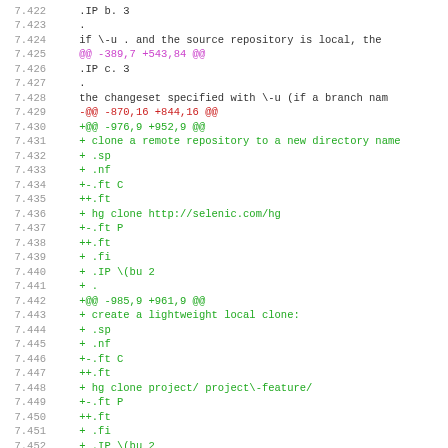[Figure (screenshot): Code diff view showing line numbers 7.422-7.454 with colored diff markers. Lines in green represent additions (+), lines in red represent removals (-), and lines in magenta show diff hunk headers (@@). The code appears to be a man page diff for mercurial hg clone command documentation.]